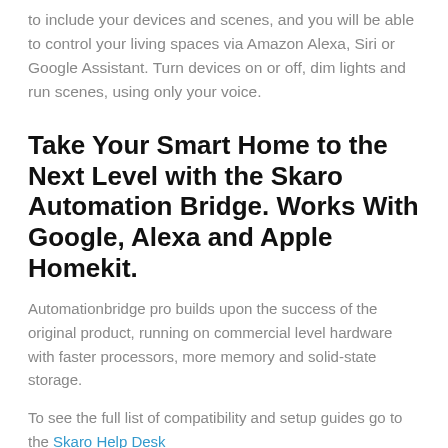to include your devices and scenes, and you will be able to control your living spaces via Amazon Alexa, Siri or Google Assistant. Turn devices on or off, dim lights and run scenes, using only your voice.
Take Your Smart Home to the Next Level with the Skaro Automation Bridge. Works With Google, Alexa and Apple Homekit.
Automationbridge pro builds upon the success of the original product, running on commercial level hardware with faster processors, more memory and solid-state storage.
To see the full list of compatibility and setup guides go to the Skaro Help Desk